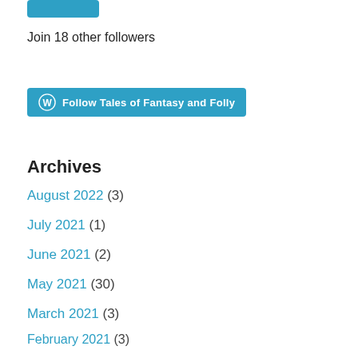[Figure (other): Blue button/widget at top of page (partial, cropped)]
Join 18 other followers
[Figure (other): WordPress Follow button: Follow Tales of Fantasy and Folly]
Archives
August 2022 (3)
July 2021 (1)
June 2021 (2)
May 2021 (30)
March 2021 (3)
February 2021 (3)
January 2021 (6)